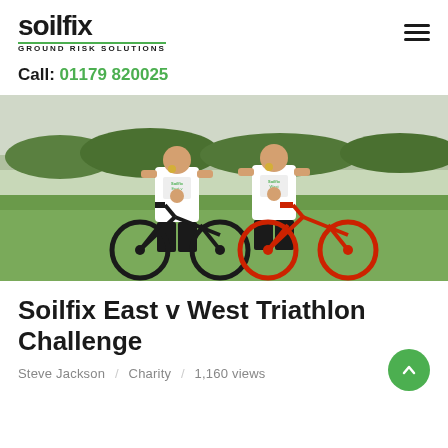soilfix GROUND RISK SOLUTIONS | hamburger menu
Call: 01179 820025
[Figure (photo): Two men in white Soilfix t-shirts with medals, standing with bicycles (one black, one red) on grass, with greenery in the background.]
Soilfix East v West Triathlon Challenge
Steve Jackson / Charity / 1,160 views